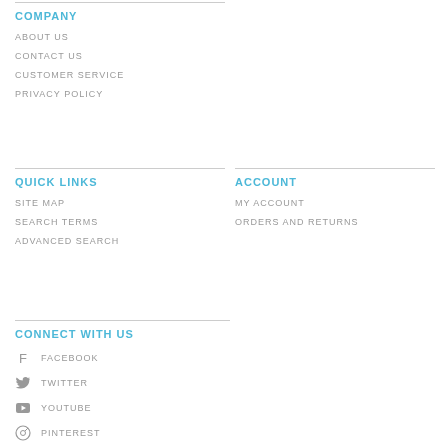COMPANY
ABOUT US
CONTACT US
CUSTOMER SERVICE
PRIVACY POLICY
QUICK LINKS
ACCOUNT
SITE MAP
MY ACCOUNT
SEARCH TERMS
ORDERS AND RETURNS
ADVANCED SEARCH
CONNECT WITH US
FACEBOOK
TWITTER
YOUTUBE
PINTEREST
RSS